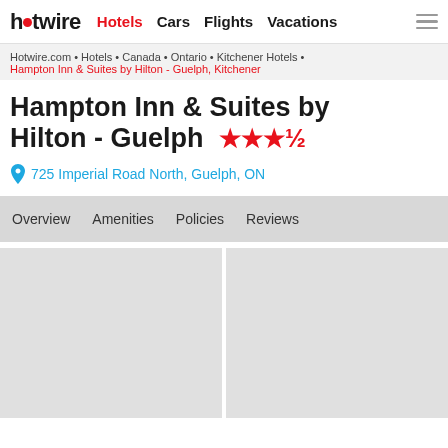hotwire  Hotels  Cars  Flights  Vacations
Hotwire.com • Hotels • Canada • Ontario • Kitchener Hotels •
Hampton Inn & Suites by Hilton - Guelph, Kitchener
Hampton Inn & Suites by Hilton - Guelph ★★★½
725 Imperial Road North, Guelph, ON
Overview  Amenities  Policies  Reviews
[Figure (photo): Two gray placeholder image boxes side by side — hotel photos loading area]